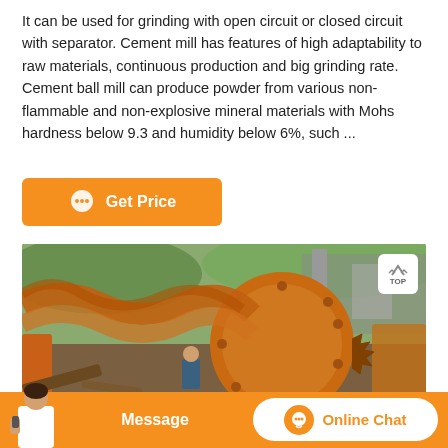It can be used for grinding with open circuit or closed circuit with separator. Cement mill has features of high adaptability to raw materials, continuous production and big grinding rate. Cement ball mill can produce powder from various non-flammable and non-explosive mineral materials with Mohs hardness below 9.3 and humidity below 6%, such ...
[Figure (other): Orange button with chat icon labeled 'Get Price']
[Figure (photo): Photo of a large orange industrial cement ball mill machine outdoors with hills and structures in the background. A TOP navigation badge is visible in the upper right corner of the image.]
[Figure (other): Orange bottom bar with a person holding a phone on the left, a 'Message' label in the center, and an 'Online Chat' button with icon on the right.]